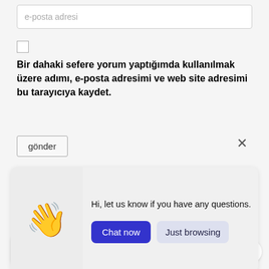e-posta adresi
☐
Bir dahaki sefere yorum yaptığımda kullanılmak üzere adımı, e-posta adresimi ve web site adresimi bu tarayıcıya kaydet.
gönder
×
[Figure (screenshot): Chat popup widget with waving hand emoji, text 'Hi, let us know if you have any questions.', 'Chat now' button (blue), and 'Just browsing' button (light purple/gray).]
Write a message...